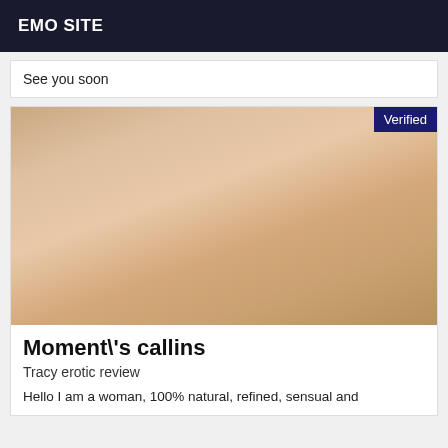EMO SITE
See you soon
[Figure (photo): Close-up adult content photo with a Verified badge in the top right corner]
Moment\'s callins
Tracy erotic review
Hello I am a woman, 100% natural, refined, sensual and